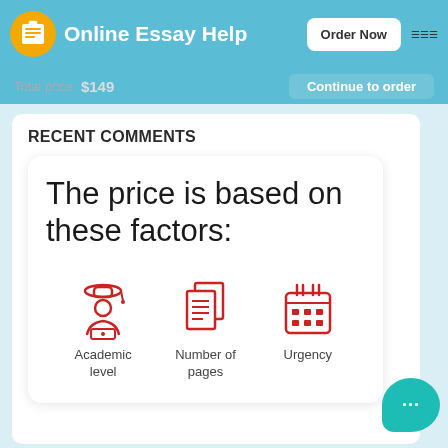Online Essay Help — Order Now
Total price: $149   Continue to order
RECENT COMMENTS
The price is based on these factors:
[Figure (illustration): Three red icons: Academic level (graduation cap with student), Number of pages (stacked documents), Urgency (calendar)]
Academic level   Number of pages   Urgency